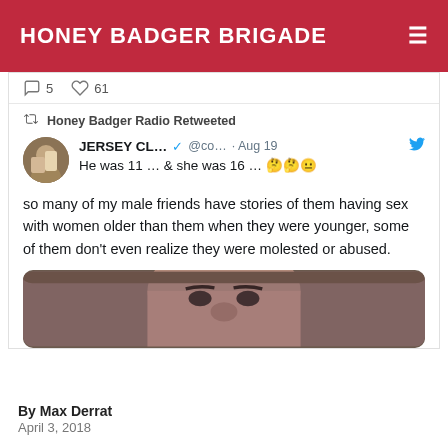HONEY BADGER BRIGADE
5  61
Honey Badger Radio Retweeted
JERSEY CL... @co... · Aug 19
He was 11 … & she was 16 … 🤔🤔😐
so many of my male friends have stories of them having sex with women older than them when they were younger, some of them don't even realize they were molested or abused.
[Figure (photo): A close-up photo of a man (resembling Steve Harvey) with a serious/skeptical expression, cropped at the forehead area]
By Max Derrat
April 3, 2018